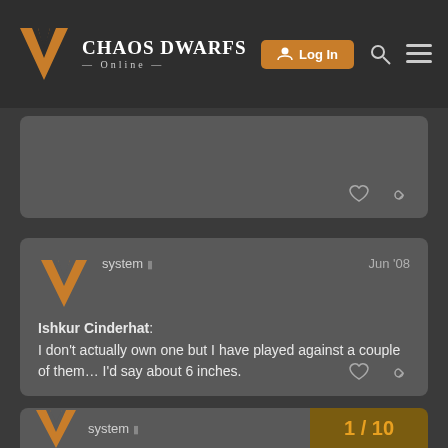Chaos Dwarfs Online
system Jun '08
Ishkur Cinderhat:
I don't actually own one but I have played against a couple of them… I'd say about 6 inches.
system 1 / 10